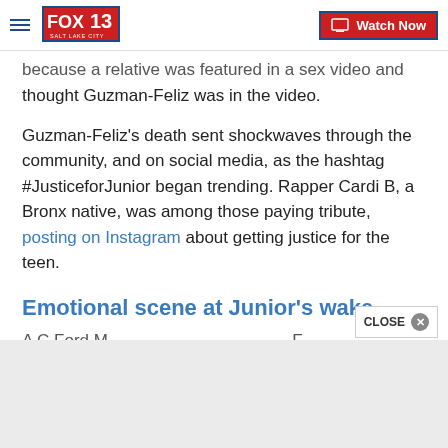FOX 13 Salt Lake City | Watch Now
because a relative was featured in a sex video and thought Guzman-Feliz was in the video.
Guzman-Feliz's death sent shockwaves through the community, and on social media, as the hashtag #JusticeforJunior began trending. Rapper Cardi B, a Bronx native, was among those paying tribute, posting on Instagram about getting justice for the teen.
Emotional scene at Junior's wake
A C FordM...